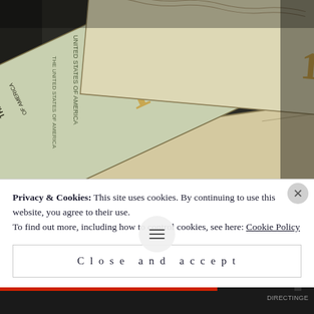[Figure (photo): Close-up photo of US $100 dollar bills fanned out, showing serial number PK19409837B, green Treasury seal, and gold numerals.]
Privacy & Cookies: This site uses cookies. By continuing to use this website, you agree to their use.
To find out more, including how to control cookies, see here: Cookie Policy
Close and accept